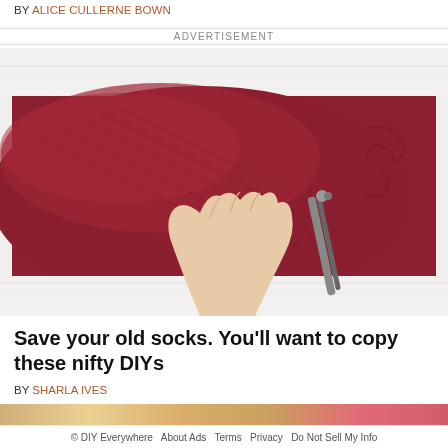BY ALICE CULLERNE BOWN
ADVERTISEMENT
[Figure (photo): A hand holding down a dark red/maroon knit sock on a white wooden surface, with scissors cutting into it]
Save your old socks. You'll want to copy these nifty DIYs
BY SHARLA IVES
© DIY Everywhere   About Ads   Terms   Privacy   Do Not Sell My Info